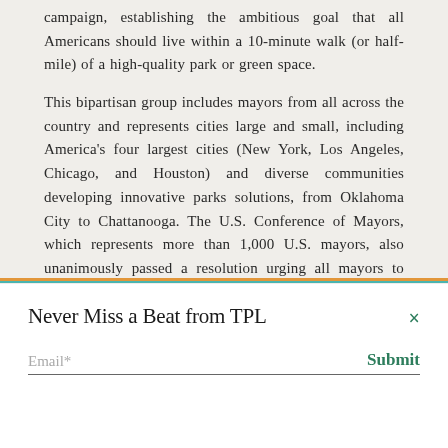campaign, establishing the ambitious goal that all Americans should live within a 10-minute walk (or half-mile) of a high-quality park or green space.
This bipartisan group includes mayors from all across the country and represents cities large and small, including America's four largest cities (New York, Los Angeles, Chicago, and Houston) and diverse communities developing innovative parks solutions, from Oklahoma City to Chattanooga. The U.S. Conference of Mayors, which represents more than 1,000 U.S. mayors, also unanimously passed a resolution urging all mayors to actively pursue the 10-minute walk to a park goal.
“I am proud we’re supporting the goal of a 10-minute walk to a quality park for all,” said New Orleans Mayor Mitch Landrieu
Never Miss a Beat from TPL
Email*
Submit
Studies show that high-quality parks can raise property values of